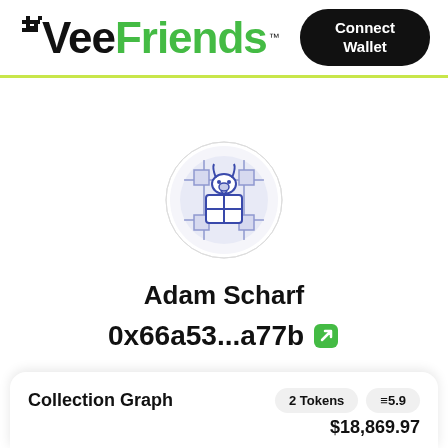VeeFriends™  Connect Wallet
[Figure (illustration): Circular avatar showing a blue illustrated goat/dragon creature on a white background, VeeFriends NFT token art]
Adam Scharf
0x66a53...a77b
Collection Graph
2 Tokens  ≡5.9  $18,869.97